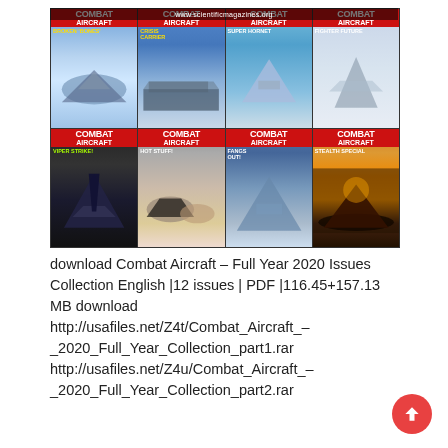[Figure (photo): Grid of 8 Combat Aircraft magazine covers arranged in 2 rows of 4. Covers feature aircraft imagery with red headers reading 'COMBAT AIRCRAFT'. Topics include: Broken Bones, Crisis Carrier, Super Hornet, Fighter Future, Viper Strike, Hot Stuff, Fangs Out, Stealth Special. Website watermark visible at top: www.scientificmagazines.org]
download Combat Aircraft – Full Year 2020 Issues Collection English |12 issues | PDF |116.45+157.13 MB download http://usafiles.net/Z4t/Combat_Aircraft_-_2020_Full_Year_Collection_part1.rar http://usafiles.net/Z4u/Combat_Aircraft_-_2020_Full_Year_Collection_part2.rar